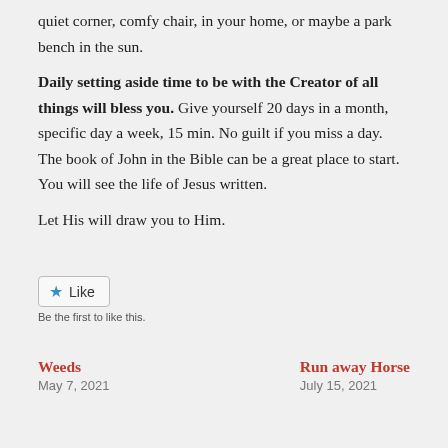quiet corner, comfy chair, in your home, or maybe a park bench in the sun.
Daily setting aside time to be with the Creator of all things will bless you. Give yourself 20 days in a month, specific day a week, 15 min. No guilt if you miss a day. The book of John in the Bible can be a great place to start. You will see the life of Jesus written.
Let His will draw you to Him.
[Figure (other): Like button with star icon and 'Be the first to like this.' caption]
Weeds
May 7, 2021
Run away Horse
July 15, 2021